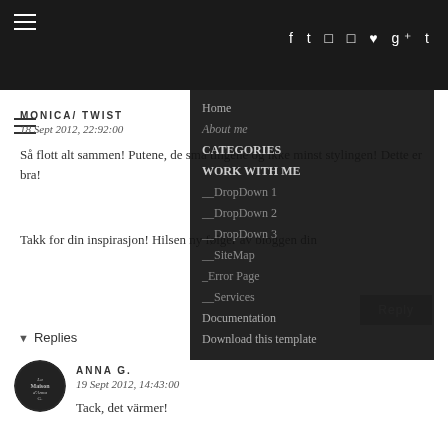Navigation bar with social icons: f t (instagram) (pinterest) (heart) g+ t
Home
About me
CATEGORIES
WORK WITH ME
__DropDown 1
__DropDown 2
__DropDown 3
__SiteMap
_Error Page
__Services
Documentation
Download this template
MONICA/ TWIST
18 Sept 2012, 22:92:00
Så flott alt sammen! Putene, de små tingene og ikke minst stylingen! Dette er bra!
Takk for din inspirasjon! Hilsen ny følger av bloggen din
Reply
▾ Replies
ANNA G.
19 Sept 2012, 14:43:00
Tack, det värmer!